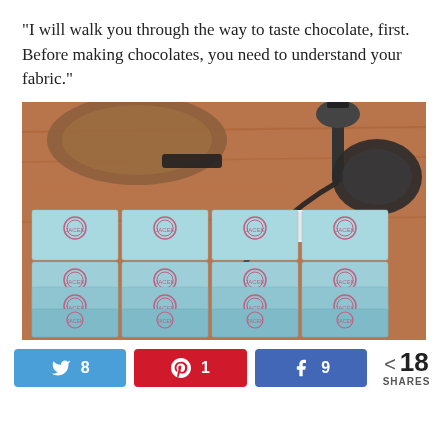“I will walk you through the way to taste chocolate, first. Before making chocolates, you need to understand your fabric.”
[Figure (photo): Photo of multiple light blue branded chocolate boxes (labelled with a pink circular logo) stacked in rows on a wooden table, with a microphone stand, cables, and a white cube-shaped adapter visible in the background.]
Twitter: 8  Pinterest: 1  Facebook: 9  18 SHARES